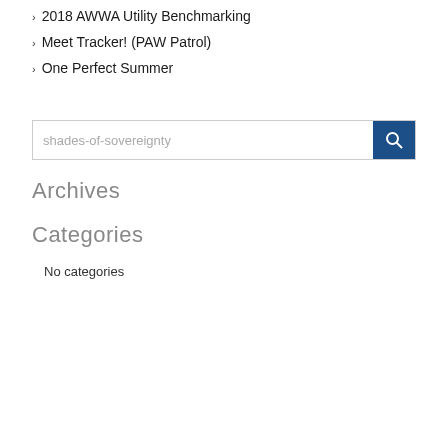2018 AWWA Utility Benchmarking
Meet Tracker! (PAW Patrol)
One Perfect Summer
Archives
Categories
No categories